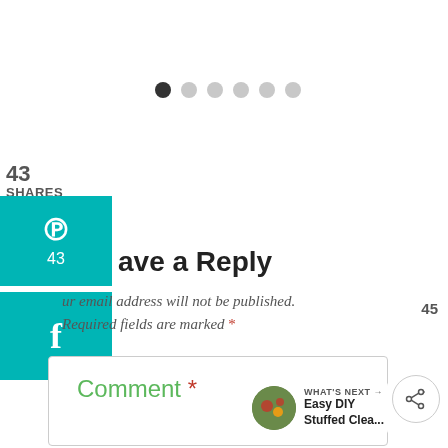[Figure (other): Carousel pagination dots — one dark filled dot and five light gray dots in a row]
43
SHARES
[Figure (other): Pinterest share button (teal background, P icon, count 43)]
[Figure (other): Facebook share button (teal background, f icon)]
Leave a Reply
Your email address will not be published. Required fields are marked *
[Figure (other): Heart/like button (teal circle) with count 45 below]
[Figure (other): Share icon button (white circle with share symbol)]
Comment *
[Figure (other): WHAT'S NEXT → Easy DIY Stuffed Clea... thumbnail card]